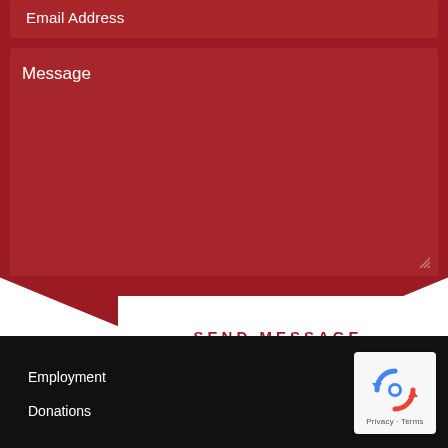Email Address
Message
SEND MESSAGE
Employment
Donations
[Figure (logo): Google reCAPTCHA badge with blue/red arrow logo, Privacy and Terms text]